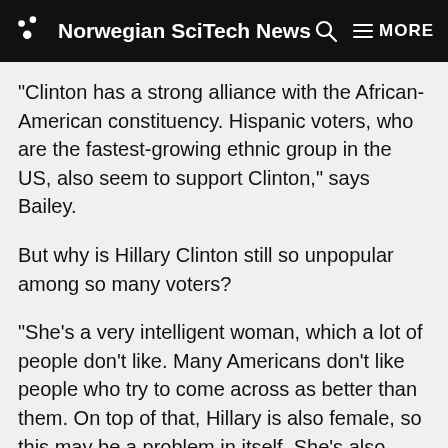Norwegian SciTech News
“Clinton has a strong alliance with the African-American constituency. Hispanic voters, who are the fastest-growing ethnic group in the US, also seem to support Clinton,” says Bailey.
But why is Hillary Clinton still so unpopular among so many voters?
“She’s a very intelligent woman, which a lot of people don’t like. Many Americans don’t like people who try to come across as better than them. On top of that, Hillary is also female, so this may be a problem in itself. She’s also married to Bill Clinton, whom the Republicans hated. She’s connected to some of the old issues that created problems for the Clinton administration. There’s always been a certain ‘sleaze factor’ around the Clintons,